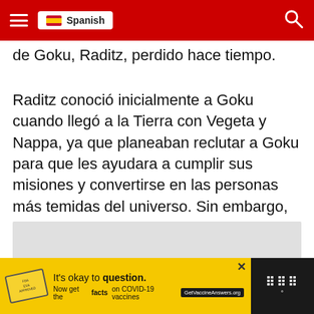Spanish
de Goku, Raditz, perdido hace tiempo.
Raditz conoció inicialmente a Goku cuando llegó a la Tierra con Vegeta y Nappa, ya que planeaban reclutar a Goku para que les ayudara a cumplir sus misiones y convertirse en las personas más temidas del universo. Sin embargo, no lo consiguen ya que Goku tiene una familia en la Tierra y está apegado a ella.
[Figure (other): Gray placeholder image block]
It's okay to question. Now get the facts on COVID-19 vaccines GetVaccineAnswers.org